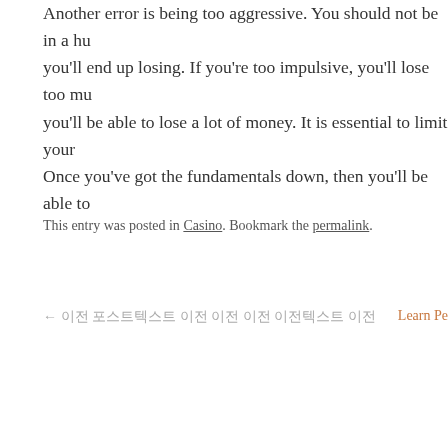Another error is being too aggressive. You should not be in a hu you'll end up losing. If you're too impulsive, you'll lose too mu you'll be able to lose a lot of money. It is essential to limit your Once you've got the fundamentals down, then you'll be able to
This entry was posted in Casino. Bookmark the permalink.
← 이전 포스트텍스트 이전 이전 이전 이전텍스트 이전    Learn Pe